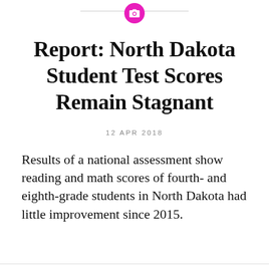[Figure (other): Camera icon in a magenta/pink circle, centered at the top of the page above a horizontal rule]
Report: North Dakota Student Test Scores Remain Stagnant
12 APR 2018
Results of a national assessment show reading and math scores of fourth- and eighth-grade students in North Dakota had little improvement since 2015.